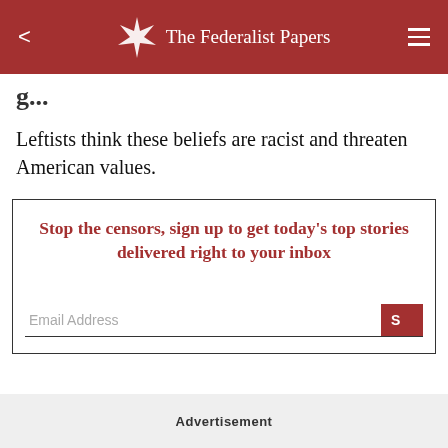The Federalist Papers
Leftists think these beliefs are racist and threaten American values.
Stop the censors, sign up to get today's top stories delivered right to your inbox
Email Address
Advertisement